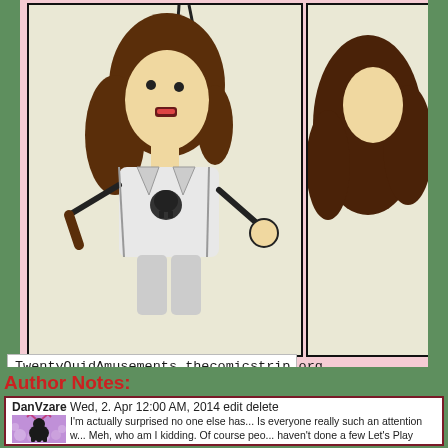[Figure (illustration): Webcomic strip showing cartoon character with brown hair wearing a skull t-shirt, gesturing with one hand. Two panels visible - left panel shows character facing forward, right panel partially cut off showing another character.]
TwentyQuidAmusements.thecomicstrip.org
[Figure (other): Navigation buttons: double green left arrow 'First', single green left arrow 'Previo...']
Average Ratin...
[Figure (logo): Facebook 'f' logo button in blue]
Author Notes:
DanVzare Wed, 2. Apr 12:00 AM, 2014 edit delete
[Figure (photo): Avatar image showing black silhouette of a deer/reindeer with antlers on purple bubble background]
I'm actually surprised no one else has... Is everyone really such an attention w... Meh, who am I kidding. Of course peo... haven't done a few Let's Play videos ... noticed due to not owning a next Gen... th... ...t G... S...